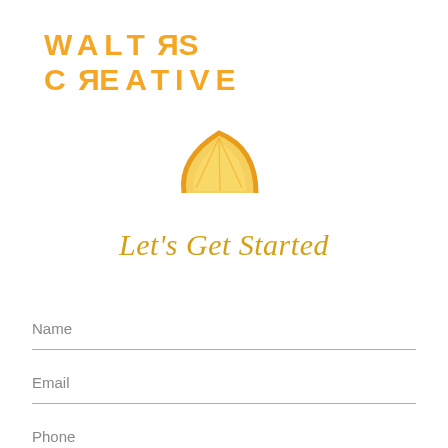[Figure (logo): Walters Creative logo: bold orange/yellow uppercase letters spelling WALTERS CREATIVE in two lines with stylized reversed R characters, followed by a lemon slice icon in yellow/gold]
Let's Get Started
Name
Email
Phone